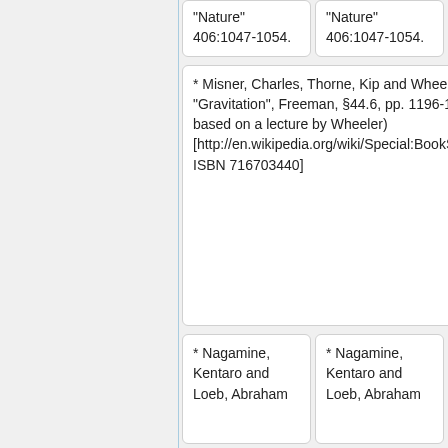"Nature" 406:1047-1054.
"Nature" 406:1047-1054.
* Misner, Charles, Thorne, Kip and Wheeler, John A. (1973) "Gravitation", Freeman, §44.6, pp. 1196-1217. (This section based on a lecture by Wheeler) [http://en.wikipedia.org/wiki/Special:BookSources/019510837X ISBN 716703440]
* Misner, Charles, Thorne, Kip and Wheeler, John A. (1973) "Gravitation", Freeman, §44.6, pp. 1196-1217. (This section based on a lecture by Wheeler) [http://en.wikipedia.org/wiki/Special:BookSources/019510837X ISBN 716703440]
* Nagamine, Kentaro and Loeb, Abraham
* Nagamine, Kentaro and Loeb, Abraham